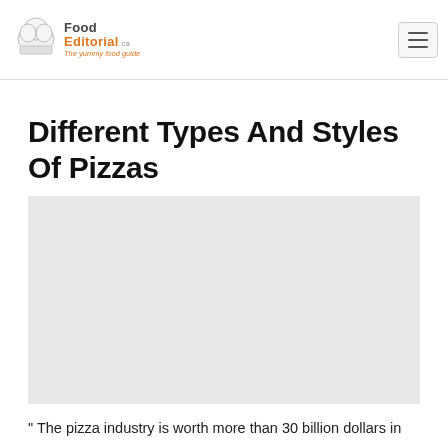Food Editorial — The yummy food guide
Different Types And Styles Of Pizzas
[Figure (photo): Image placeholder for pizza article]
" The pizza industry is worth more than 30 billion dollars in